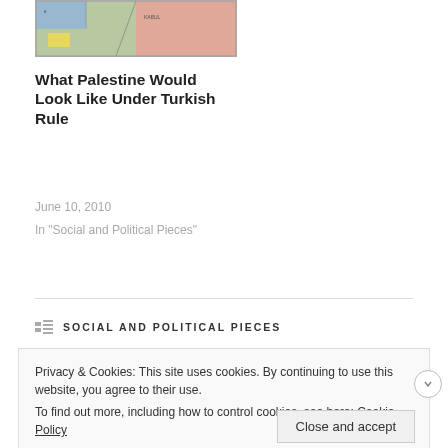[Figure (map): Partial map of the Middle East / Palestine region showing color-coded territories in pink, blue, yellow, and green]
What Palestine Would Look Like Under Turkish Rule
June 10, 2010
In "Social and Political Pieces"
SOCIAL AND POLITICAL PIECES
Privacy & Cookies: This site uses cookies. By continuing to use this website, you agree to their use.
To find out more, including how to control cookies, see here: Cookie Policy